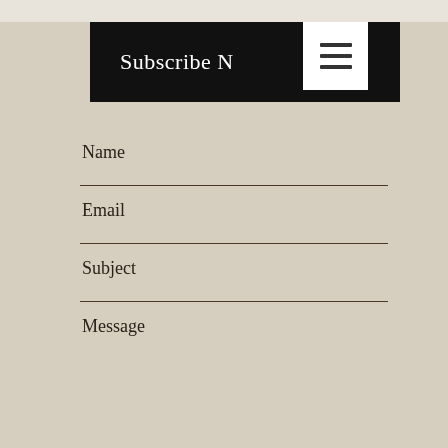Subscribe N
[Figure (screenshot): Hamburger menu icon with three horizontal lines]
Name
Email
Subject
Message
Send Message
Thanks for submitting!